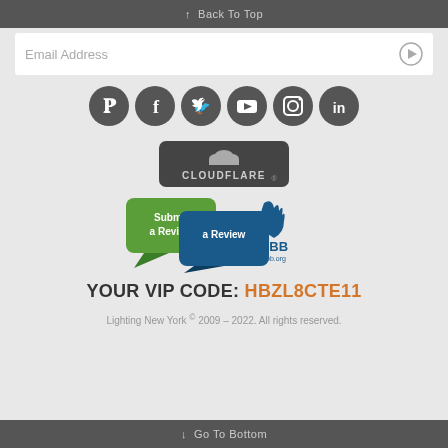↑ Back To Top
Email Address
[Figure (other): Six social media icons: Pinterest, Facebook, Twitter, YouTube, Instagram, LinkedIn — dark gray circles]
[Figure (logo): Cloudflare badge with cloud icon and CLOUDFLARE text on dark rounded rectangle]
[Figure (other): BBB Submit a Review badge — green speech bubble with 'Submit a Review' text and blue BBB flame logo]
YOUR VIP CODE: HBZL8CTE11
Lighting New York © 2009 – 2022. All rights reserved.
↓ Go To Bottom